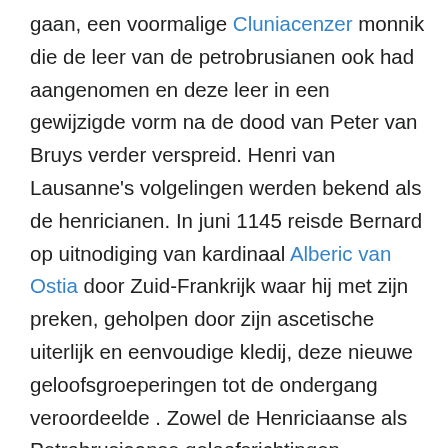gaan, een voormalige Cluniacenzer monnik die de leer van de petrobrusianen ook had aangenomen en deze leer in een gewijzigde vorm na de dood van Peter van Bruys verder verspreid. Henri van Lausanne's volgelingen werden bekend als de henricianen. In juni 1145 reisde Bernard op uitnodiging van kardinaal Alberic van Ostia door Zuid-Frankrijk waar hij met zijn preken, geholpen door zijn ascetische uiterlijk en eenvoudige kledij, deze nieuwe geloofsgroeperingen tot de ondergang veroordeelde . Zowel de Henriciaanse als Petrobrusiaanse geloofsrichtingen begonnen reeds aan het einde van het jaar 1145 uit te sterven. Kort daarna werd Henri van Lausanne gearresteerd. Zijn zaak werd voor de bisschop van Toulouse gebracht en zeer waarschijnlijk werd Henri tot levenslang veroordeeld. In een brief aan de inwoners van Toulouse uit het einde van 1146, roept Bernard hen op